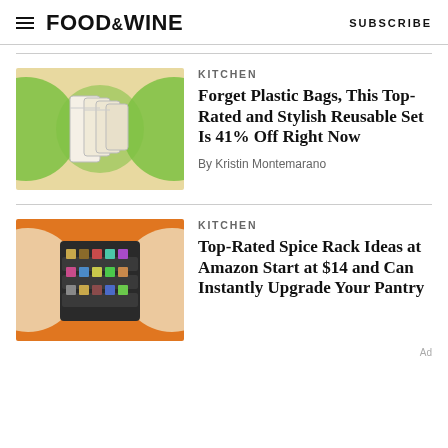FOOD&WINE  SUBSCRIBE
KITCHEN
[Figure (illustration): Reusable fabric bags on a beige background with green circles]
Forget Plastic Bags, This Top-Rated and Stylish Reusable Set Is 41% Off Right Now
By Kristin Montemarano
KITCHEN
[Figure (illustration): Spice rack with spices on an orange background with cream circles]
Top-Rated Spice Rack Ideas at Amazon Start at $14 and Can Instantly Upgrade Your Pantry
Ad